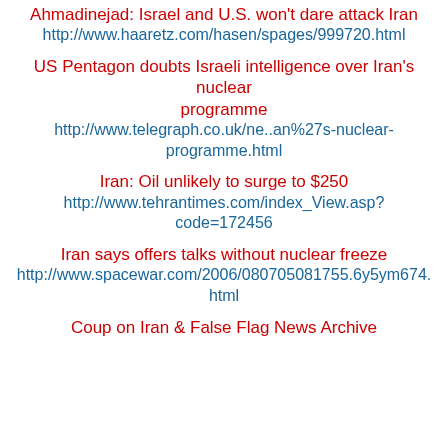Ahmadinejad: Israel and U.S. won't dare attack Iran
http://www.haaretz.com/hasen/spages/999720.html
US Pentagon doubts Israeli intelligence over Iran's nuclear programme
http://www.telegraph.co.uk/ne..an%27s-nuclear-programme.html
Iran: Oil unlikely to surge to $250
http://www.tehrantimes.com/index_View.asp?code=172456
Iran says offers talks without nuclear freeze
http://www.spacewar.com/2006/080705081755.6y5ym674.html
Coup on Iran & False Flag News Archive